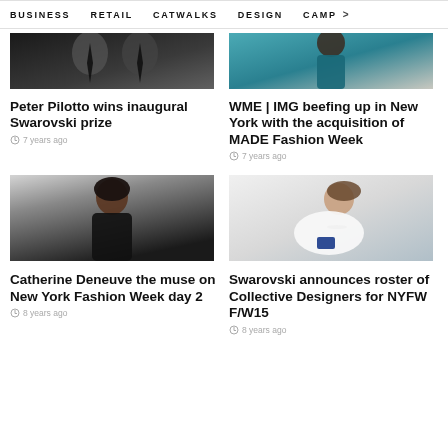BUSINESS   RETAIL   CATWALKS   DESIGN   CAMP >
[Figure (photo): Two men in black suits and ties at an event]
[Figure (photo): Black woman in teal/blue top on a runway]
Peter Pilotto wins inaugural Swarovski prize
7 years ago
WME | IMG beefing up in New York with the acquisition of MADE Fashion Week
7 years ago
[Figure (photo): Young woman with dark hair in a black top on runway]
[Figure (photo): Woman in white jacket holding a blue phone, reclining]
Catherine Deneuve the muse on New York Fashion Week day 2
8 years ago
Swarovski announces roster of Collective Designers for NYFW F/W15
8 years ago